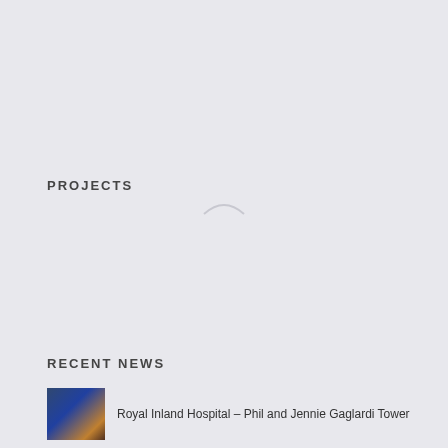PROJECTS
[Figure (photo): Grid of 8 architectural/hospital building photographs arranged in two rows]
RECENT NEWS
[Figure (photo): Thumbnail photo of Royal Inland Hospital – Phil and Jennie Gaglardi Tower]
Royal Inland Hospital – Phil and Jennie Gaglardi Tower